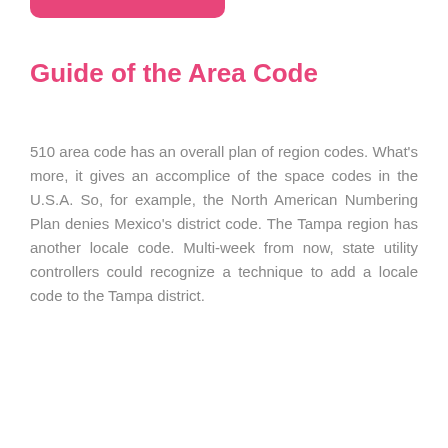Guide of the Area Code
510 area code has an overall plan of region codes. What's more, it gives an accomplice of the space codes in the U.S.A. So, for example, the North American Numbering Plan denies Mexico's district code. The Tampa region has another locale code. Multi-week from now, state utility controllers could recognize a technique to add a locale code to the Tampa district.